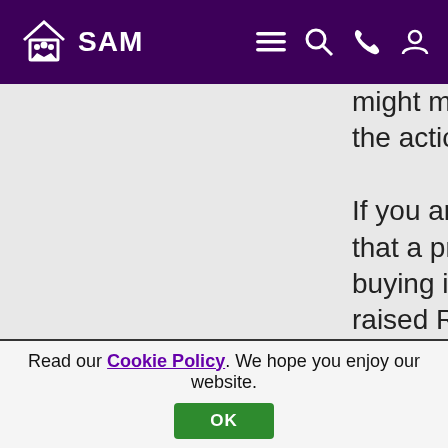SAM
might measure above the action level). If you are concerned that a property you are buying is in an area of raised Radon, please click to visit Public Health England's UK Radon Map. Click also to find out more about
Read our Cookie Policy. We hope you enjoy our website. OK